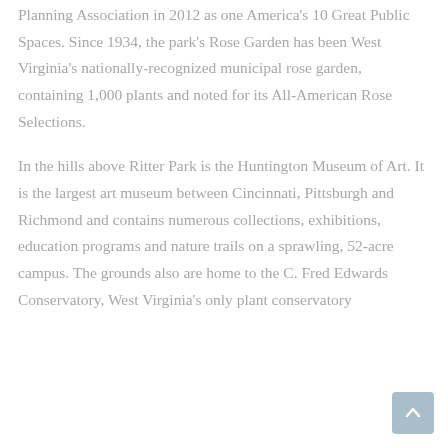Planning Association in 2012 as one America's 10 Great Public Spaces. Since 1934, the park's Rose Garden has been West Virginia's nationally-recognized municipal rose garden, containing 1,000 plants and noted for its All-American Rose Selections.
In the hills above Ritter Park is the Huntington Museum of Art. It is the largest art museum between Cincinnati, Pittsburgh and Richmond and contains numerous collections, exhibitions, education programs and nature trails on a sprawling, 52-acre campus. The grounds also are home to the C. Fred Edwards Conservatory, West Virginia's only plant conservatory